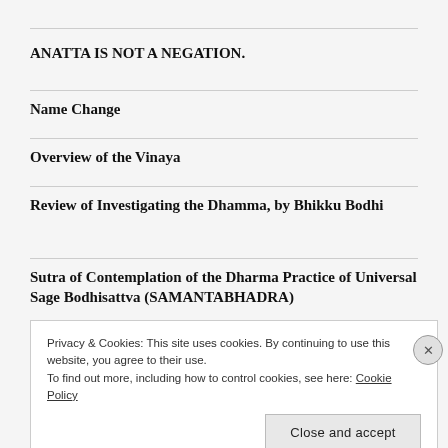ANATTA IS NOT A NEGATION.
Name Change
Overview of the Vinaya
Review of Investigating the Dhamma, by Bhikku Bodhi
Sutra of Contemplation of the Dharma Practice of Universal Sage Bodhisattva (SAMANTABHADRA)
Privacy & Cookies: This site uses cookies. By continuing to use this website, you agree to their use.
To find out more, including how to control cookies, see here: Cookie Policy
Close and accept